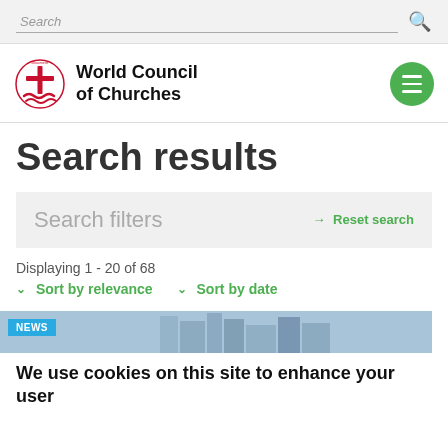Search
[Figure (logo): World Council of Churches logo with oikoumene symbol and text]
Search results
Search filters
Reset search
Displaying 1 - 20 of 68
Sort by relevance
Sort by date
NEWS
We use cookies on this site to enhance your user